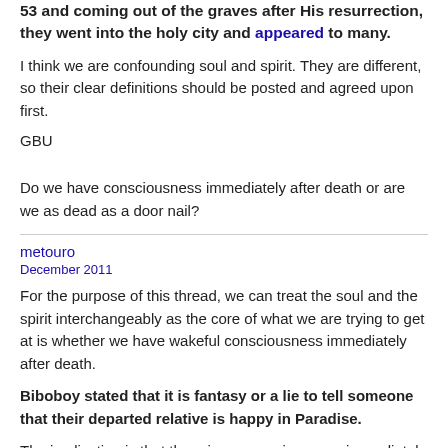53 and coming out of the graves after His resurrection, they went into the holy city and appeared to many.
I think we are confounding soul and spirit. They are different, so their clear definitions should be posted and agreed upon first.
GBU
Do we have consciousness immediately after death or are we as dead as a door nail?
metouro
December 2011
For the purpose of this thread, we can treat the soul and the spirit interchangeably as the core of what we are trying to get at is whether we have wakeful consciousness immediately after death.
Biboboy stated that it is fantasy or a lie to tell someone that their departed relative is happy in Paradise.
The implication is that there is no consciousness immediately after physical death.  Consciousness is regiven at the final resurrection.
My contention is that this is not what the Bible teaches neither is it the